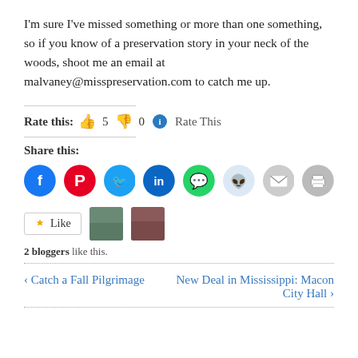I'm sure I've missed something or more than one something, so if you know of a preservation story in your neck of the woods, shoot me an email at malvaney@misspreservation.com to catch me up.
Rate this: 👍 5 👎 0 ℹ Rate This
Share this:
[Figure (other): Row of social share icon buttons: Facebook (blue), Pinterest (red), Twitter (blue), LinkedIn (dark blue), WhatsApp (green), Reddit (light blue), Email (gray), Print (gray)]
[Figure (other): Like button and two blogger avatar thumbnails, with text '2 bloggers like this.']
2 bloggers like this.
‹ Catch a Fall Pilgrimage   New Deal in Mississippi: Macon City Hall ›